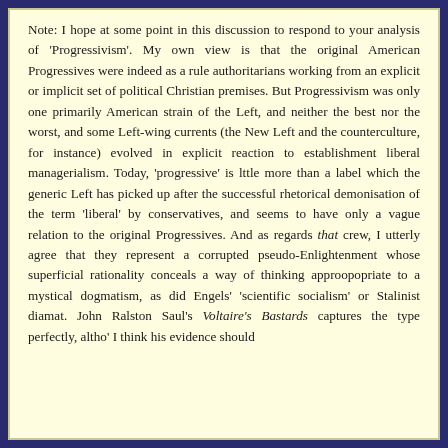Note: I hope at some point in this discussion to respond to your analysis of 'Progressivism'. My own view is that the original American Progressives were indeed as a rule authoritarians working from an explicit or implicit set of political Christian premises. But Progressivism was only one primarily American strain of the Left, and neither the best nor the worst, and some Left-wing currents (the New Left and the counterculture, for instance) evolved in explicit reaction to establishment liberal managerialism. Today, 'progressive' is lttle more than a label which the generic Left has picked up after the successful rhetorical demonisation of the term 'liberal' by conservatives, and seems to have only a vague relation to the original Progressives. And as regards that crew, I utterly agree that they represent a corrupted pseudo-Enlightenment whose superficial rationality conceals a way of thinking approopopriate to a mystical dogmatism, as did Engels' 'scientific socialism' or Stalinist diamat. John Ralston Saul's Voltaire's Bastards captures the type perfectly, altho' I think his evidence should